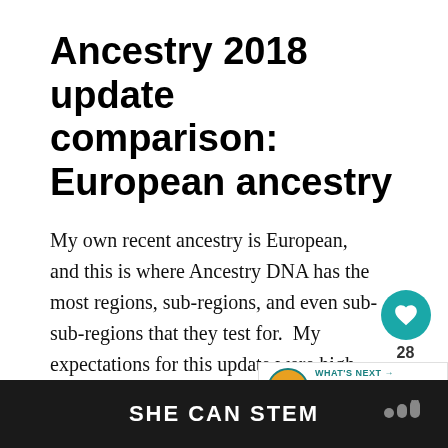Ancestry 2018 update comparison: European ancestry
My own recent ancestry is European, and this is where Ancestry DNA has the most regions, sub-regions, and even sub-sub-regions that they test for. My expectations for this update were high.
[Figure (infographic): Social interaction sidebar with heart/like button showing 28 likes and a share button]
[Figure (infographic): What's Next promo banner with avatar icon, label 'WHAT'S NEXT', and title 'Ancestry DNA Update 2018...']
SHE CAN STEM